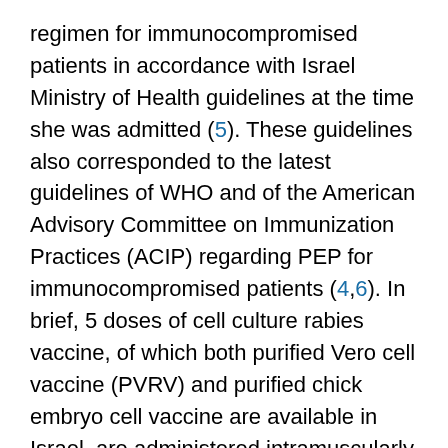regimen for immunocompromised patients in accordance with Israel Ministry of Health guidelines at the time she was admitted (5). These guidelines also corresponded to the latest guidelines of WHO and of the American Advisory Committee on Immunization Practices (ACIP) regarding PEP for immunocompromised patients (4,6). In brief, 5 doses of cell culture rabies vaccine, of which both purified Vero cell vaccine (PVRV) and purified chick embryo cell vaccine are available in Israel, are administered intramuscularly on days 0 (together with 20 IU/kg of human rabies immune globulin), 3, 7, 14, and 28.
The PEP regimen for the patient began 12 days after her potential exposure to rabies virus through the monkey bite with the administration of the PVRV vaccine (Verorab, batch E1036; Sanofi Pasteur SA, Lyon, France). On day 15 of the PEP regimen, 2 vials